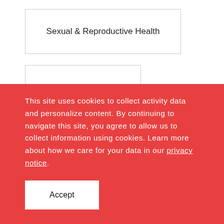Sexual & Reproductive Health
Primary Health Care
Led by PATH in partnership with
This site uses cookies to collect activity data and personalize content. By continuing to navigate this site, you agree to allow us to collect information using cookies. Learn more about how we care for your data in our privacy notice.
Accept